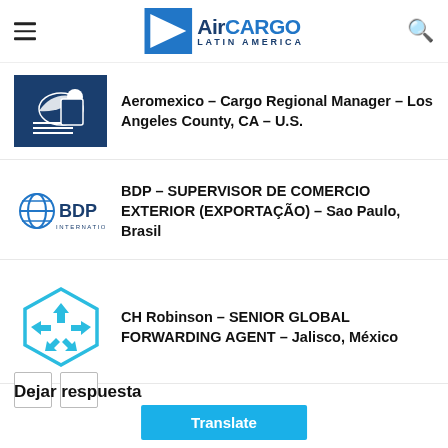AirCARGO LATIN AMERICA
Aeromexico – Cargo Regional Manager – Los Angeles County, CA – U.S.
BDP – SUPERVISOR DE COMERCIO EXTERIOR (EXPORTAÇÃO) – Sao Paulo, Brasil
CH Robinson – SENIOR GLOBAL FORWARDING AGENT – Jalisco, México
Dejar respuesta
Translate